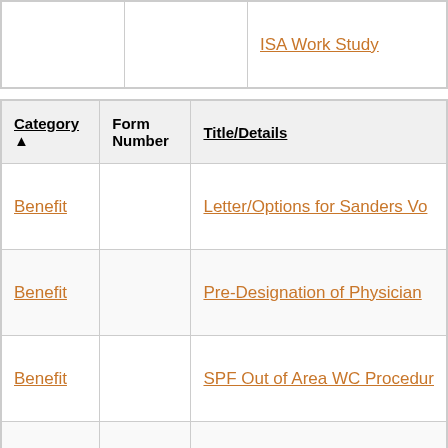|  |  | ISA Work Study |
| Category | Form Number | Title/Details |
| --- | --- | --- |
| Benefit |  | Letter/Options for Sanders Vo |
| Benefit |  | Pre-Designation of Physician |
| Benefit |  | SPF Out of Area WC Procedur |
| Benefit |  | Self Service Guide: My Benefit |
| Benefit |  | Highlights of New Voluntary P |
|  |  |  |